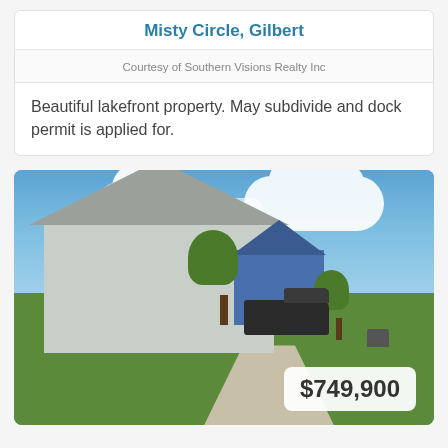Misty Circle, Gilbert
Courtesy of Southern Visions Realty Inc
Beautiful lakefront property. May subdivide and dock permit is applied for.
[Figure (photo): Exterior photo of a two-story lakefront home with blue siding, covered porches, attached garage, truck in driveway, green lawn, trees, and a blue barn in the background under a partly cloudy sky. Price badge showing $749,900 overlaid in lower right corner.]